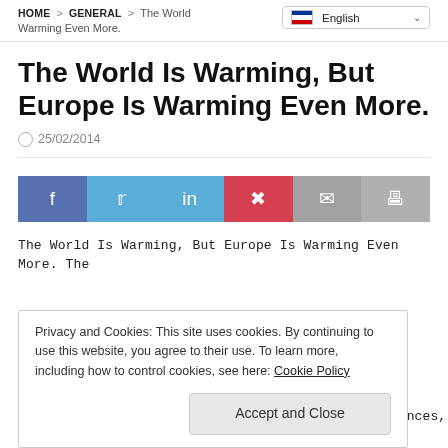HOME > GENERAL > The World Is Warming, But Europe Is Warming Even More.
The World Is Warming, But Europe Is Warming Even More.
25/02/2014
[Figure (infographic): Social sharing bar with Facebook, Twitter, LinkedIn, Pinterest, Email, and Print buttons]
The World Is Warming, But Europe Is Warming Even More. The
Privacy and Cookies: This site uses cookies. By continuing to use this website, you agree to their use. To learn more, including how to control cookies, see here: Cookie Policy
Accept and Close
the London School of Economics and Political Sciences, and